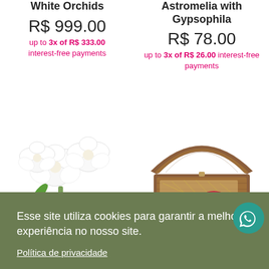White Orchids
R$ 999.00
up to 3x of R$ 333.00 interest-free payments
Astromelia with Gypsophila
R$ 78.00
up to 3x of R$ 26.00 interest-free payments
[Figure (photo): White roses/orchids bouquet]
[Figure (photo): Wooden gift box open with decorative items inside]
Esse site utiliza cookies para garantir a melhor experiência no nosso site.
Política de privacidade
Preferências
Aceitar
h wine, Rocher